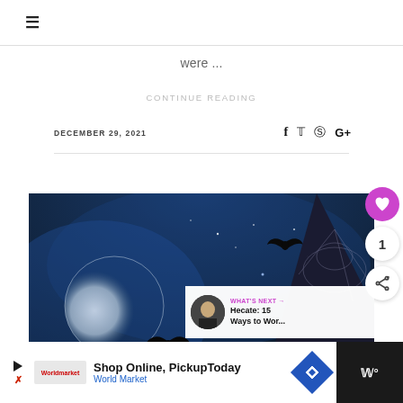≡
were ...
CONTINUE READING
DECEMBER 29, 2021
[Figure (photo): Halloween themed photo of a witch in a wide-brimmed cobweb-covered hat against a dark blue night sky with a full moon and flying bats]
WHAT'S NEXT → Hecate: 15 Ways to Wor...
Shop Online, Pickup Today World Market